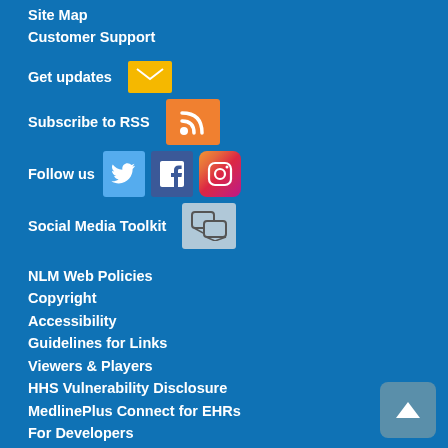Site Map
Customer Support
Get updates
Subscribe to RSS
Follow us
Social Media Toolkit
NLM Web Policies
Copyright
Accessibility
Guidelines for Links
Viewers & Players
HHS Vulnerability Disclosure
MedlinePlus Connect for EHRs
For Developers
National Library of Medicine
8600 Rockville Pike, Bethesda, MD 20894
[Figure (illustration): Back to top button arrow]